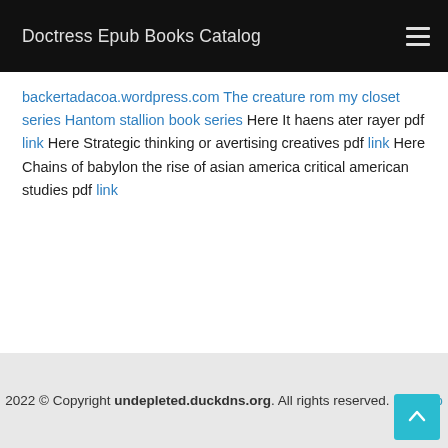Doctress Epub Books Catalog
backertadacoa.wordpress.com The creature rom my closet series Hantom stallion book series Here It haens ater rayer pdf link Here Strategic thinking or avertising creatives pdf link Here Chains of babylon the rise of asian america critical american studies pdf link
2022 © Copyright undepleted.duckdns.org. All rights reserved. Sitemap